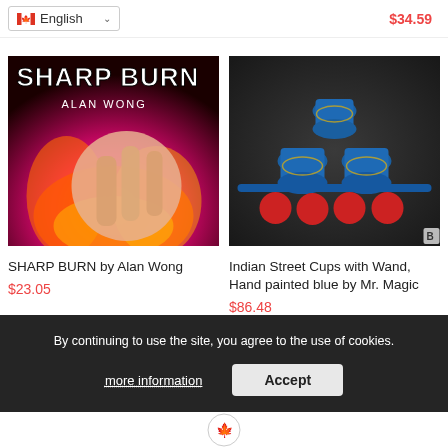English
$34.59
[Figure (photo): Sharp Burn by Alan Wong product image — hand with fire background and title text 'SHARP BURN ALAN WONG']
SHARP BURN by Alan Wong
$23.05
[Figure (photo): Indian Street Cups with Wand, Hand painted blue — blue decorative cups stacked with red sponge balls in front on dark background]
Indian Street Cups with Wand, Hand painted blue by Mr. Magic
$86.48
By continuing to use the site, you agree to the use of cookies.
more information
Accept